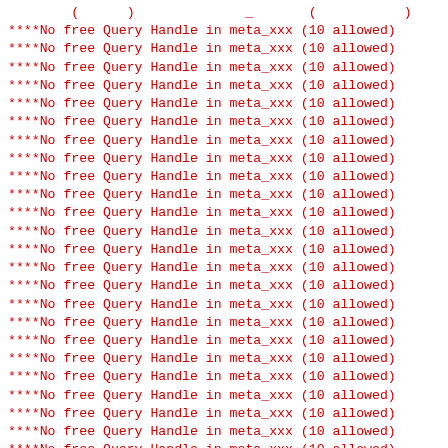****No free Query Handle in meta_xxx (10 allowed) (repeated lines)